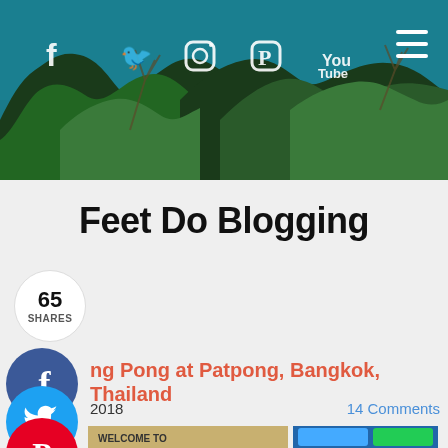[Figure (photo): Header photo of trees against a blue sky with social media icons (Facebook, Twitter, Instagram, Pinterest, YouTube) overlaid in the top-left and hamburger menu in the top-right]
Feet Do Blogging
65 SHARES
Ping Pong at Patpong, Bangkok, Thailand
2018   14 Comments
[Figure (photo): Partial thumbnail image showing a welcome sign and colorful display, likely from Patpong Bangkok]